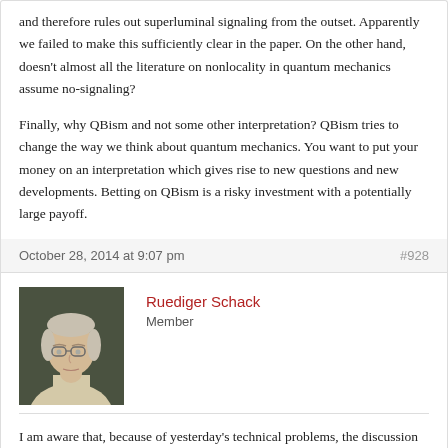and therefore rules out superluminal signaling from the outset. Apparently we failed to make this sufficiently clear in the paper. On the other hand, doesn't almost all the literature on nonlocality in quantum mechanics assume no-signaling?
Finally, why QBism and not some other interpretation? QBism tries to change the way we think about quantum mechanics. You want to put your money on an interpretation which gives rise to new questions and new developments. Betting on QBism is a risky investment with a potentially large payoff.
October 28, 2014 at 9:07 pm
#928
Ruediger Schack
Member
I am aware that, because of yesterday's technical problems, the discussion of my talk has been rescheduled for later today. Unfortunately, it is already late evening in Egham, which means I won't be able to participate.
October 29, 2014 at 7:39 am
#985
Quantum Speculations
[Figure (photo): Avatar photo of Ruediger Schack, a middle-aged man with glasses and light hair, against a dark background]
[Figure (logo): Circular avatar/logo for Quantum Speculations, partially visible at bottom]